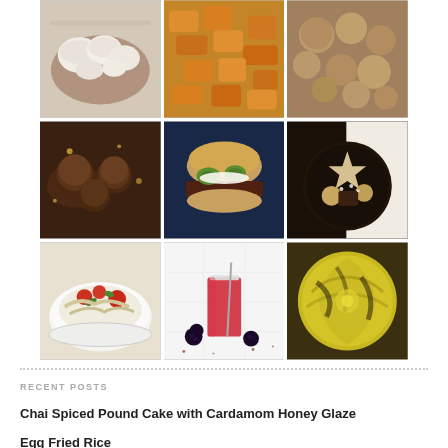[Figure (photo): 3x3 grid of food photography images showing various dishes including mushrooms, roasted squash, cookies/pastries, chocolate truffles, a burger with jalapeno, a dessert plate with star cookies, a vegetable rice bowl, a red drink with blackberries, and grilled cabbage]
RECENT POSTS
Chai Spiced Pound Cake with Cardamom Honey Glaze
Egg Fried Rice